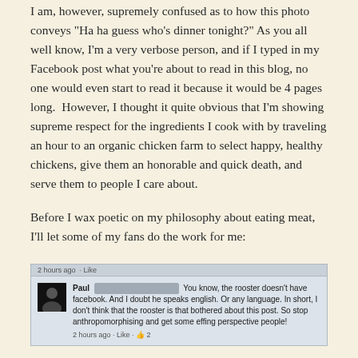I am, however, supremely confused as to how this photo conveys "Ha ha guess who's dinner tonight?" As you all well know, I'm a very verbose person, and if I typed in my Facebook post what you're about to read in this blog, no one would even start to read it because it would be 4 pages long. However, I thought it quite obvious that I'm showing supreme respect for the ingredients I cook with by traveling an hour to an organic chicken farm to select happy, healthy chickens, give them an honorable and quick death, and serve them to people I care about.
Before I wax poetic on my philosophy about eating meat, I'll let some of my fans do the work for me:
[Figure (screenshot): Facebook comment screenshot. Paul (last name blurred) writes: 'You know, the rooster doesn't have facebook. And I doubt he speaks english. Or any language. In short, I don't think that the rooster is that bothered about this post. So stop anthropomorphising and get some effing perspective people!' Posted 2 hours ago · Like · 2 likes.]